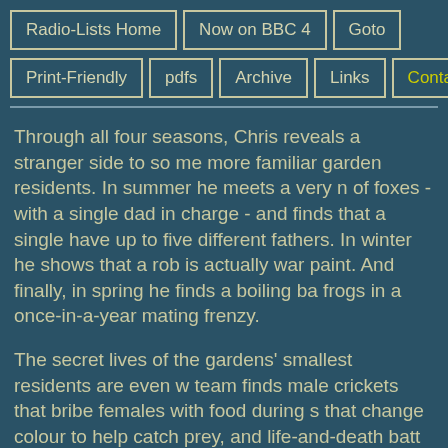Radio-Lists Home | Now on BBC 4 | Goto | Print-Friendly | pdfs | Archive | Links | Contact
Through all four seasons, Chris reveals a stranger side to some more familiar garden residents. In summer he meets a very notable of foxes - with a single dad in charge - and finds that a single have up to five different fathers. In winter he shows that a rob is actually war paint. And finally, in spring he finds a boiling ba frogs in a once-in-a-year mating frenzy.
The secret lives of the gardens' smallest residents are even w team finds male crickets that bribe females with food during s that change colour to help catch prey, and life-and-death batt under our noses in the compost heap.
So how many different species call our gardens home? How gardens support wildlife? By the end of the year, with the hel team from London's Natural History Museum and some of th naturalists, Chris will find out. He'll also discover which type a attracts the most wildlife. The results are not what you might